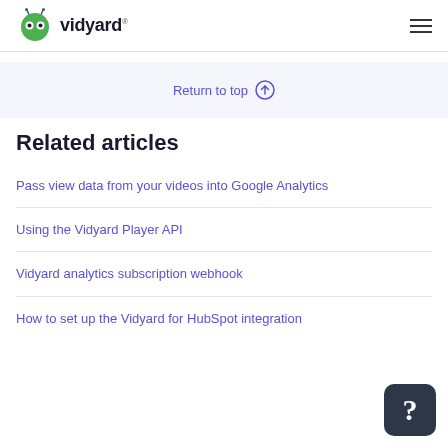Vidyard
Return to top ↑
Related articles
Pass view data from your videos into Google Analytics
Using the Vidyard Player API
Vidyard analytics subscription webhook
How to set up the Vidyard for HubSpot integration